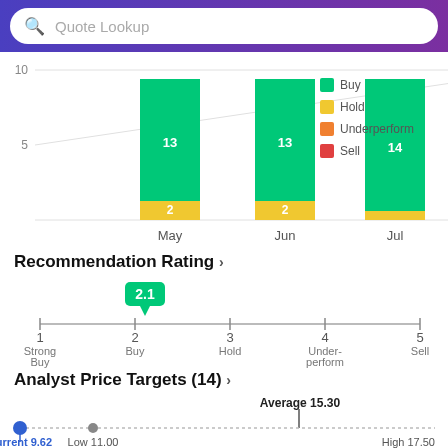Quote Lookup
[Figure (stacked-bar-chart): Analyst Recommendations]
Recommendation Rating
[Figure (other): Rating scale from 1 (Strong Buy) to 5 (Sell) with indicator at 2.1]
Analyst Price Targets (14)
[Figure (other): Price target range: Current 9.62, Low 11.00, Average 15.30, High 17.50]